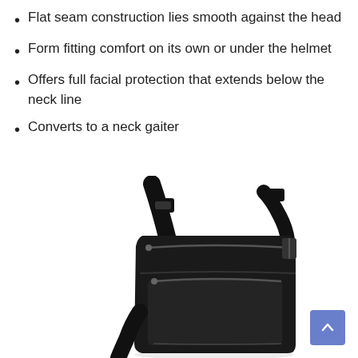Flat seam construction lies smooth against the head
Form fitting comfort on its own or under the helmet
Offers full facial protection that extends below the neck line
Converts to a neck gaiter
[Figure (photo): Black crossbody/shoulder bag with front zippered pocket, black buckle clip on strap, photographed against white background]